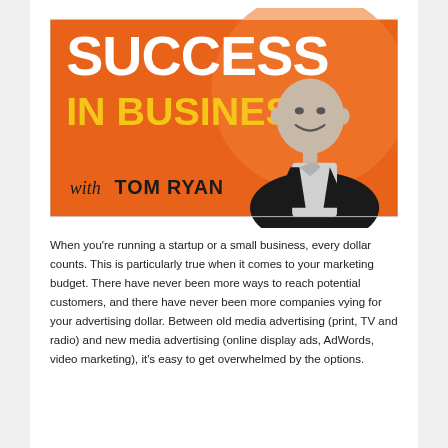[Figure (illustration): Podcast cover art for 'Success in Business with Tom Ryan'. Orange background with large white and yellow text reading 'SUCCESS IN BUSINESS'. Italic script 'with' followed by bold 'TOM RYAN' at bottom left. A bald man in a black suit smiling on the right side, shown in black and white.]
When you're running a startup or a small business, every dollar counts. This is particularly true when it comes to your marketing budget. There have never been more ways to reach potential customers, and there have never been more companies vying for your advertising dollar. Between old media advertising (print, TV and radio) and new media advertising (online display ads, AdWords, video marketing), it's easy to get overwhelmed by the options.